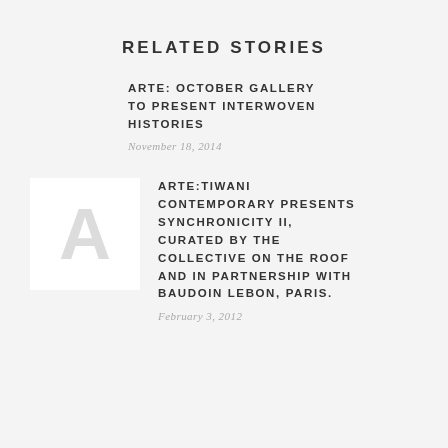RELATED STORIES
ARTE: OCTOBER GALLERY TO PRESENT INTERWOVEN HISTORIES
November 18, 2014
[Figure (logo): White square with large grey letter A]
ARTE:TIWANI CONTEMPORARY PRESENTS SYNCHRONICITY II, CURATED BY THE COLLECTIVE ON THE ROOF AND IN PARTNERSHIP WITH BAUDOIN LEBON, PARIS.
February 3, 2012